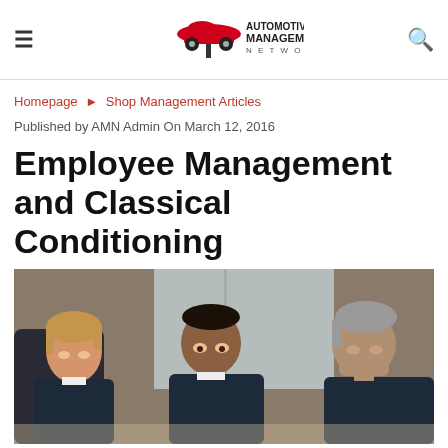Automotive Management Network
Homepage ▶ Shop Management Articles
Published by AMN Admin On March 12, 2016
Employee Management and Classical Conditioning
[Figure (photo): Three automotive mechanics in dark blue uniforms looking down together at something, in a garage setting. Two younger men and one older grey-haired man.]